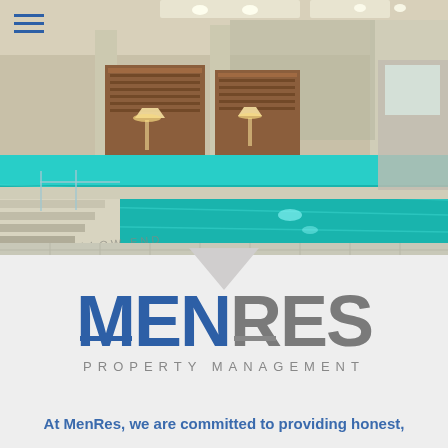[Figure (photo): Indoor luxury swimming pool with turquoise water, wooden cabana-style lounge areas, recessed ceiling lights, and marble/stone tile surroundings. Text 'SHALLOW END' visible on pool deck.]
[Figure (logo): MenRes Property Management logo. 'MEN' in bold dark blue, 'RES' in bold grey, with blue horizontal bars through the letters. 'PROPERTY MANAGEMENT' in grey spaced capitals below.]
At MenRes, we are committed to providing honest,